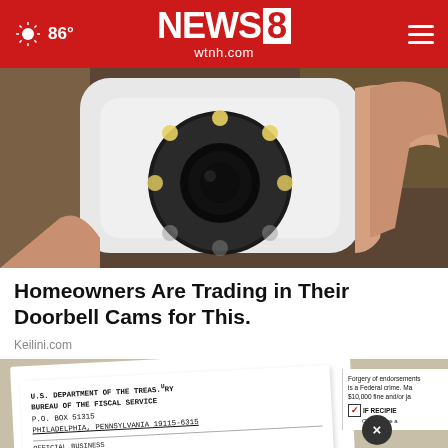86° NEWS 8 wtnh.com
[Figure (photo): A hand holding a small white security camera with a round black lens and LED lights]
Homeowners Are Trading in Their Doorbell Cams for This.
Keilini.com
[Figure (photo): A US Department of the Treasury Bureau of the Fiscal Service envelope with an ad overlay reading BUZZED AND DOING SOMETHING TO MAKE YOURSELF OKAY TO DRIVE?]